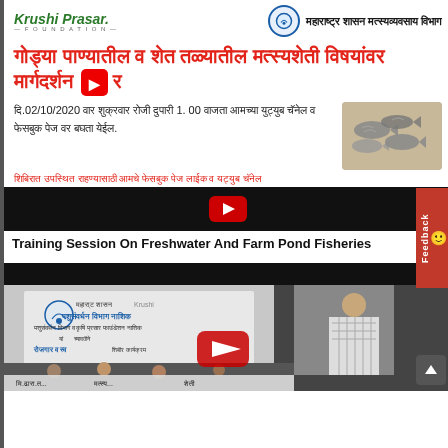[Figure (screenshot): Krushi Prasar Foundation logo on the left and Maharashtra Shasan Matsyavyavsay Vibhag (Maharashtra Government Fisheries Department) logo on the right]
गोड्या पाण्यातील व शेत तळ्यातील मत्स्यशेती विषयांवर मार्गदर्शन
दि.02/10/2020 वार शुक्रवार रोजी दुपारी 1. 00 वाजता आमच्या युट्युब चॅनेल व फेसबुक पेज वर बघता येईल.
[Figure (photo): Image of multiple freshwater fish]
शिबिरात उपस्थित राहण्यासाठी आमचे फेसबुक पेज लाईक व यट्युब चॅनेल
[Figure (screenshot): Black bar with YouTube play button overlay - first video player thumbnail area]
Training Session On Freshwater And Farm Pond Fisheries
[Figure (screenshot): Second video thumbnail showing a training session with a banner for Pashusanvardhan Vibhag Nashik and a speaker at a podium. YouTube play button overlay visible.]